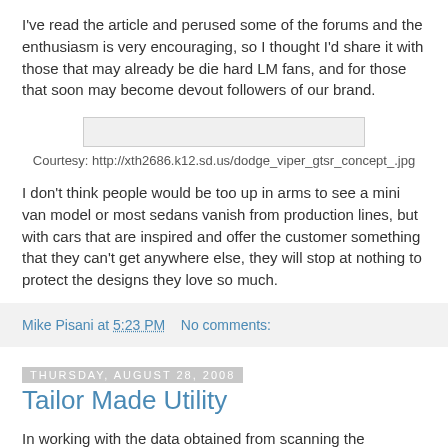I've read the article and perused some of the forums and the enthusiasm is very encouraging, so I thought I'd share it with those that may already be die hard LM fans, and for those that soon may become devout followers of our brand.
[Figure (photo): Image placeholder rectangle (image of a car, courtesy link shown below)]
Courtesy: http://xth2686.k12.sd.us/dodge_viper_gtsr_concept_.jpg
I don't think people would be too up in arms to see a mini van model or most sedans vanish from production lines, but with cars that are inspired and offer the customer something that they can't get anywhere else, they will stop at nothing to protect the designs they love so much.
Mike Pisani at 5:23 PM    No comments:
Thursday, August 28, 2008
Tailor Made Utility
In working with the data obtained from scanning the